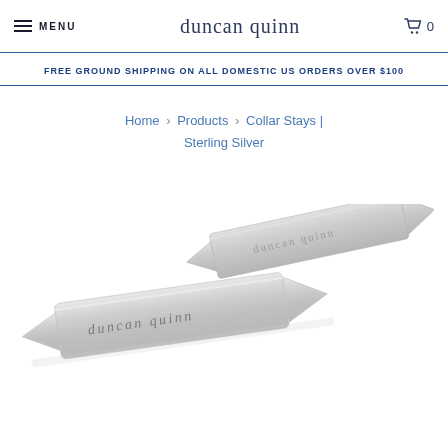MENU | duncan quinn | 0
FREE GROUND SHIPPING ON ALL DOMESTIC US ORDERS OVER $100
Home > Products > Collar Stays | Sterling Silver
[Figure (photo): Two sterling silver collar stays engraved with 'duncan quinn' branding, shown at an angle on a white background.]